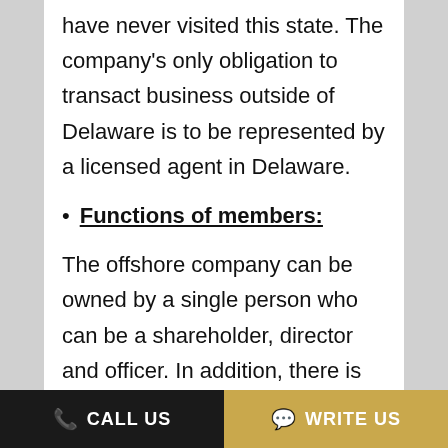have never visited this state. The company's only obligation to transact business outside of Delaware is to be represented by a licensed agent in Delaware.
Functions of members:
The offshore company can be owned by a single person who can be a shareholder, director and officer. In addition, there is no obligation for
CALL US   WRITE US